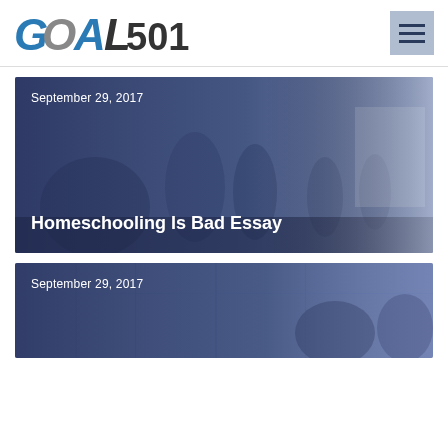GOAL501
[Figure (photo): Blue-tinted overlay photo of people walking on a city street, used as background for article card dated September 29, 2017 with title 'Homeschooling Is Bad Essay']
September 29, 2017
Homeschooling Is Bad Essay
[Figure (photo): Blue-tinted overlay photo of people on a city street or transit area, used as background for second article card dated September 29, 2017]